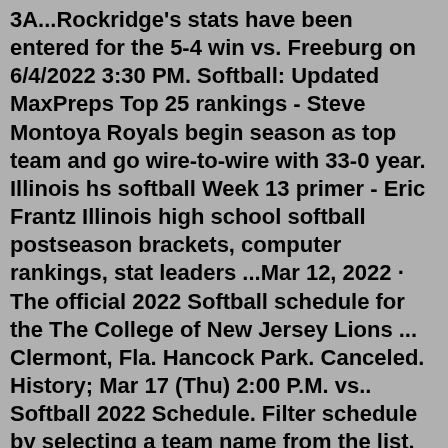3A...Rockridge's stats have been entered for the 5-4 win vs. Freeburg on 6/4/2022 3:30 PM. Softball: Updated MaxPreps Top 25 rankings - Steve Montoya Royals begin season as top team and go wire-to-wire with 33-0 year. Illinois hs softball Week 13 primer - Eric Frantz Illinois high school softball postseason brackets, computer rankings, stat leaders ...Mar 12, 2022 · The official 2022 Softball schedule for the The College of New Jersey Lions ... Clermont, Fla. Hancock Park. Canceled. History; Mar 17 (Thu) 2:00 P.M. vs.. Softball 2022 Schedule. Filter schedule by selecting a team name from the list. Filter events by selecting an event type from the list. Tuesday March 01, 2022.8to18 School Athletics WebsitesRockridge Softball (2023) Schedule. OVERALL 0-0 0.00 Win % CONFERENCE 0-0 1st Three Rivers West. HOME 0-0 AWAY 0-0 NEUTRAL 0-0. PF 0 PA 0 STREAK-No Games. The coach ... Welcome to Rockridge Boosters Facebook page. If you have pictures to share, send them to... Rockridge Booster Club. 1,015 likes · 1 talking about this. ... Pontiac - Illinois High School